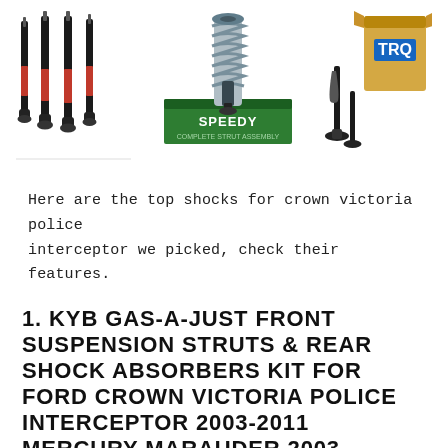[Figure (photo): Three product images side by side: left shows four black shock absorbers standing upright, center shows a coilover strut assembly with a green Speedy Strut box, right shows TRQ branded strut assembly and packaging box.]
Here are the top shocks for crown victoria police interceptor we picked, check their features.
1. KYB GAS-A-JUST FRONT SUSPENSION STRUTS & REAR SHOCK ABSORBERS KIT FOR FORD CROWN VICTORIA POLICE INTERCEPTOR 2003-2011 MERCURY MARAUDER 2003-